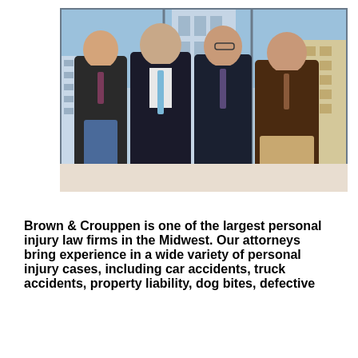[Figure (photo): Four men in professional attire (suits and business casual) standing together in front of large windows overlooking a city skyline. They are attorneys at Brown & Crouppen law firm.]
Brown & Crouppen is one of the largest personal injury law firms in the Midwest. Our attorneys bring experience in a wide variety of personal injury cases, including car accidents, truck accidents, property liability, dog bites, defective